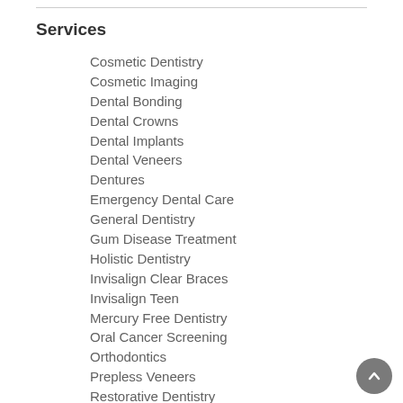Services
Cosmetic Dentistry
Cosmetic Imaging
Dental Bonding
Dental Crowns
Dental Implants
Dental Veneers
Dentures
Emergency Dental Care
General Dentistry
Gum Disease Treatment
Holistic Dentistry
Invisalign Clear Braces
Invisalign Teen
Mercury Free Dentistry
Oral Cancer Screening
Orthodontics
Prepless Veneers
Restorative Dentistry
Root Canals
Sedation Dentistry
Teeth Whitening